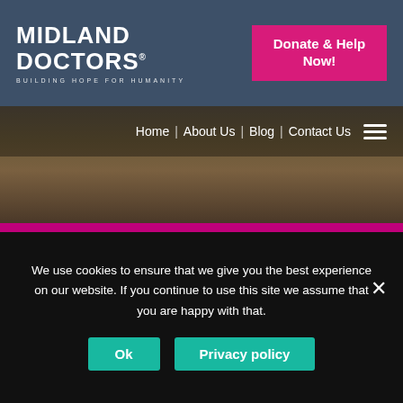MIDLAND DOCTORS® | BUILDING HOPE FOR HUMANITY
Donate & Help Now!
Home | About Us | Blog | Contact Us
[Figure (infographic): Magenta background with large white circle outline and white number '100+' text]
We use cookies to ensure that we give you the best experience on our website. If you continue to use this site we assume that you are happy with that.
Ok
Privacy policy